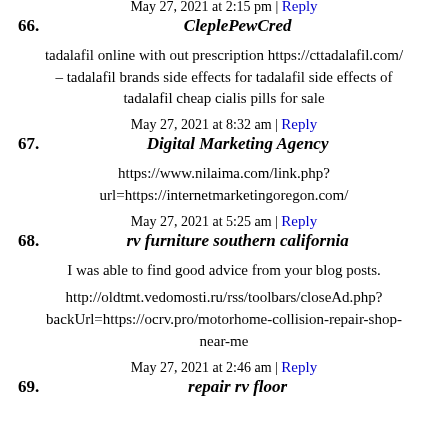parts orange county california
May 27, 2021 at 2:15 pm | Reply
66. CleplePewCred
tadalafil online with out prescription https://cttadalafil.com/ – tadalafil brands side effects for tadalafil side effects of tadalafil cheap cialis pills for sale
May 27, 2021 at 8:32 am | Reply
67. Digital Marketing Agency
https://www.nilaima.com/link.php?url=https://internetmarketingoregon.com/
May 27, 2021 at 5:25 am | Reply
68. rv furniture southern california
I was able to find good advice from your blog posts.
http://oldtmt.vedomosti.ru/rss/toolbars/closeAd.php?backUrl=https://ocrv.pro/motorhome-collision-repair-shop-near-me
May 27, 2021 at 2:46 am | Reply
69. repair rv floor